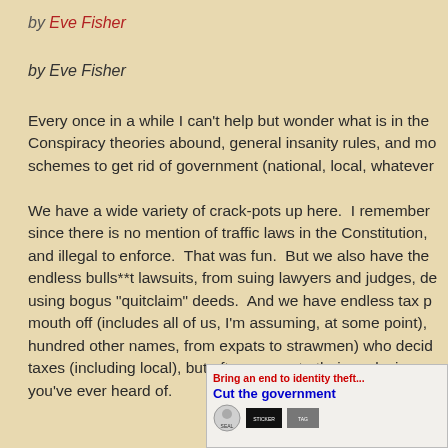by Eve Fisher
by Eve Fisher
Every once in a while I can't help but wonder what is in the Conspiracy theories abound, general insanity rules, and mo schemes to get rid of government (national, local, whatever
We have a wide variety of crack-pots up here.  I remember since there is no mention of traffic laws in the Constitution, and illegal to enforce.  That was fun.  But we also have the endless bulls**t lawsuits, from suing lawyers and judges, d using bogus "quitclaim" deeds.  And we have endless tax p mouth off (includes all of us, I'm assuming, at some point), hundred other names, from expats to strawmen) who decid taxes (including local), but often are up to their necks in so you've ever heard of.
[Figure (other): Banner image with text 'Bring an end to identity theft...' in red bold and 'Cut the government' in blue bold, with various small icons and emblems]